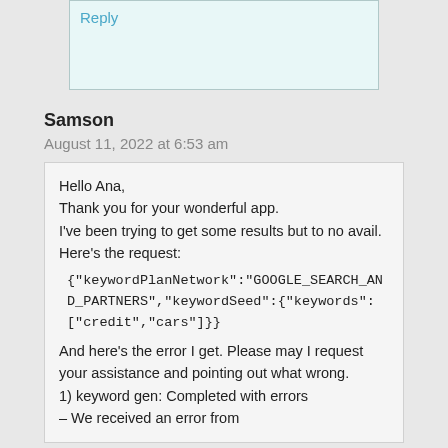[Figure (screenshot): Reply box with light teal background and a 'Reply' link in blue]
Samson
August 11, 2022 at 6:53 am
Hello Ana,
Thank you for your wonderful app.
I've been trying to get some results but to no avail.
Here's the request:
{"keywordPlanNetwork":"GOOGLE_SEARCH_AND_PARTNERS","keywordSeed":{"keywords":["credit","cars"]}}
And here's the error I get. Please may I request your assistance and pointing out what wrong.
1) keyword gen: Completed with errors
– We received an error from